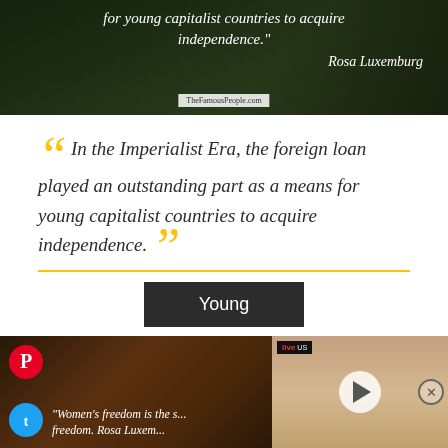[Figure (photo): Dark forest/cabin background image with white italic quote text: 'for young capitalist countries to acquire independence.' and attribution 'Rosa Luxemburg', with TheFamousPeople.com watermark]
In the Imperialist Era, the foreign loan played an outstanding part as a means for young capitalist countries to acquire independence.
Young
Rosa Luxemburg
[Figure (photo): Dark background image with Pinterest and Twitter icons and partial text: 'Women's freedom is the s... freedom. Rosa Luxem...' alongside a video thumbnail of a blonde woman with a LiveUS badge and play button]